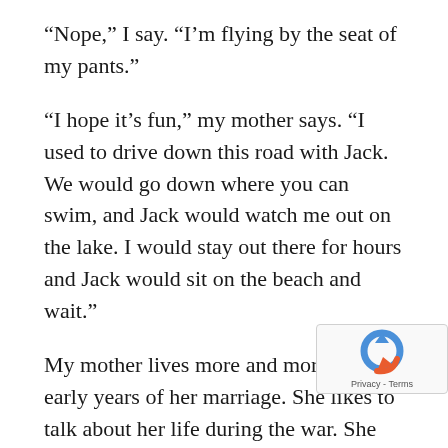“Nope,” I say. “I’m flying by the seat of my pants.”
“I hope it’s fun,” my mother says. “I used to drive down this road with Jack. We would go down where you can swim, and Jack would watch me out on the lake. I would stay out there for hours and Jack would sit on the beach and wait.”
My mother lives more and more in the early years of her marriage. She likes to talk about her life during the war. She tells me about my father in the air force and being posted in Calgary. She tells me about the dances they went to and about getting pregnant and running after the stre[et] with a baby in her arms. The stories were al[ways]...